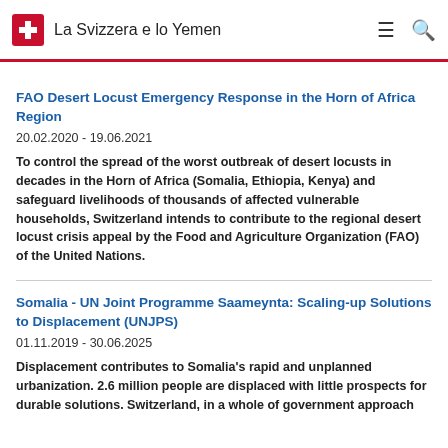La Svizzera e lo Yemen
FAO Desert Locust Emergency Response in the Horn of Africa Region
20.02.2020 - 19.06.2021
To control the spread of the worst outbreak of desert locusts in decades in the Horn of Africa (Somalia, Ethiopia, Kenya) and safeguard livelihoods of thousands of affected vulnerable households, Switzerland intends to contribute to the regional desert locust crisis appeal by the Food and Agriculture Organization (FAO) of the United Nations.
Somalia - UN Joint Programme Saameynta: Scaling-up Solutions to Displacement (UNJPS)
01.11.2019 - 30.06.2025
Displacement contributes to Somalia's rapid and unplanned urbanization. 2.6 million people are displaced with little prospects for durable solutions. Switzerland, in a whole of government approach